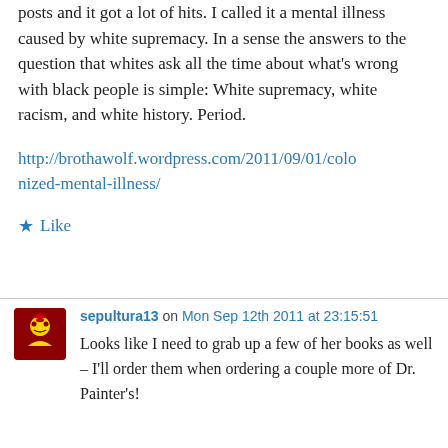posts and it got a lot of hits. I called it a mental illness caused by white supremacy. In a sense the answers to the question that whites ask all the time about what's wrong with black people is simple: White supremacy, white racism, and white history. Period.
http://brothawolf.wordpress.com/2011/09/01/colonized-mental-illness/
★ Like
sepultura13 on Mon Sep 12th 2011 at 23:15:51
Looks like I need to grab up a few of her books as well – I'll order them when ordering a couple more of Dr. Painter's!